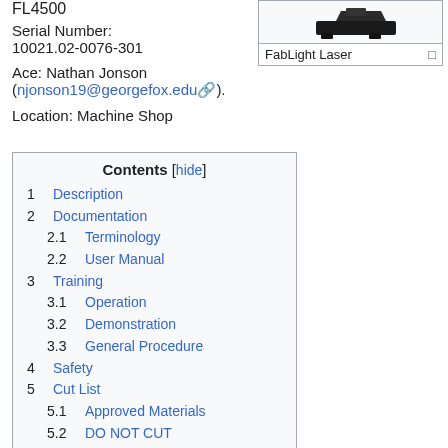FL4500
Serial Number:
10021.02-0076-301
Ace: Nathan Jonson (njonson19@georgefox.edu).
Location: Machine Shop
[Figure (photo): Photo of FabLight Laser machine, dark colored device on white background. Caption reads: FabLight Laser]
1  Description
2  Documentation
2.1  Terminology
2.2  User Manual
3  Training
3.1  Operation
3.2  Demonstration
3.3  General Procedure
4  Safety
5  Cut List
5.1  Approved Materials
5.2  DO NOT CUT
6  Certification